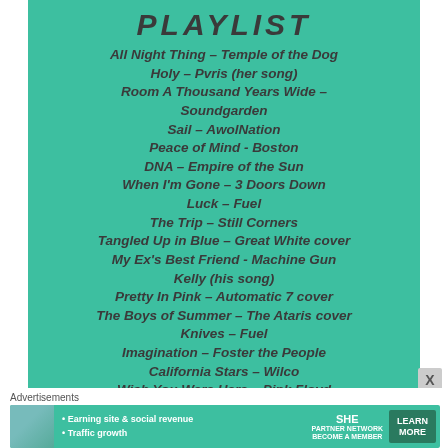PLAYLIST
All Night Thing – Temple of the Dog
Holy – Pvris (her song)
Room A Thousand Years Wide – Soundgarden
Sail – AwolNation
Peace of Mind - Boston
DNA – Empire of the Sun
When I'm Gone – 3 Doors Down
Luck – Fuel
The Trip – Still Corners
Tangled Up in Blue – Great White cover
My Ex's Best Friend - Machine Gun Kelly (his song)
Pretty In Pink – Automatic 7 cover
The Boys of Summer – The Ataris cover
Knives – Fuel
Imagination – Foster the People
California Stars – Wilco
Wish You Were Here – Pink Floyd
Advertisements
[Figure (infographic): SHE Media Partner Network advertisement banner with woman photo, bullet points: Earning site & social revenue, Traffic growth, and LEARN MORE button]